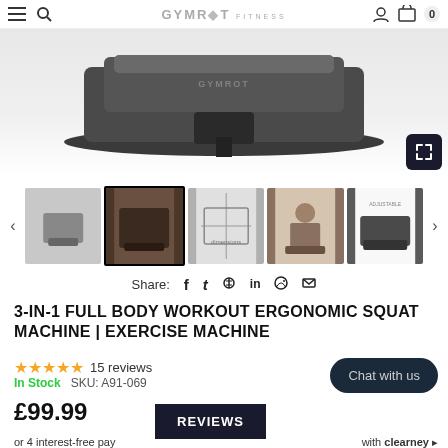GYMROT FITNESS
[Figure (photo): Main product image of 3-in-1 Full Body Workout Ergonomic Squat Machine shown from above angle against white/grey background]
[Figure (photo): Thumbnail gallery of exercise squat machine from multiple angles including solo shots, dimension diagrams, and person using the machine]
Share: f t p in (whatsapp) (email)
3-IN-1 FULL BODY WORKOUT ERGONOMIC SQUAT MACHINE | EXERCISE MACHINE
★★★★★ 15 reviews
In Stock   SKU: A91-069
Chat with us
£99.99
REVIEWS
or 4 interest-free pay
with clearney